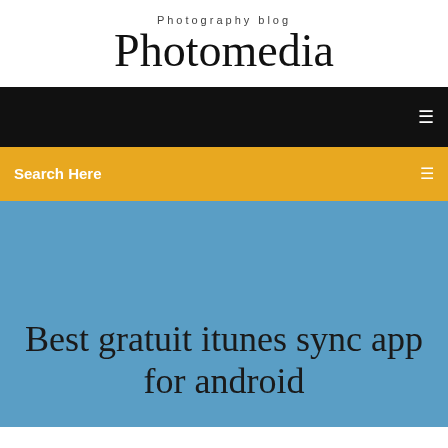Photography blog
Photomedia
[Figure (screenshot): Black navigation bar with white menu icon on right]
[Figure (screenshot): Yellow/amber search bar with 'Search Here' text and icon on right]
Best gratuit itunes sync app for android